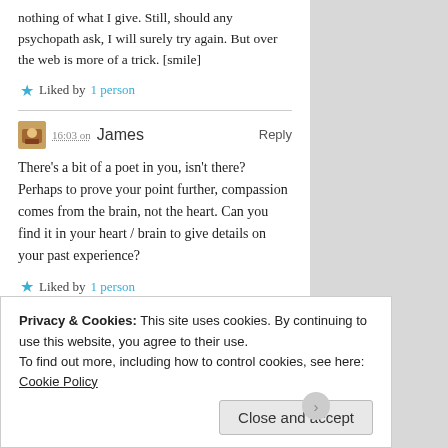nothing of what I give. Still, should any psychopath ask, I will surely try again. But over the web is more of a trick. [smile]
★ Liked by 1 person
16:03 on James   Reply
There's a bit of a poet in you, isn't there? Perhaps to prove your point further, compassion comes from the brain, not the heart. Can you find it in your heart / brain to give details on your past experience?
★ Liked by 1 person
Amaterasu Solar 12:48 on   Reply
Many have said I am a poet… I feel the
Privacy & Cookies: This site uses cookies. By continuing to use this website, you agree to their use.
To find out more, including how to control cookies, see here: Cookie Policy
Close and accept